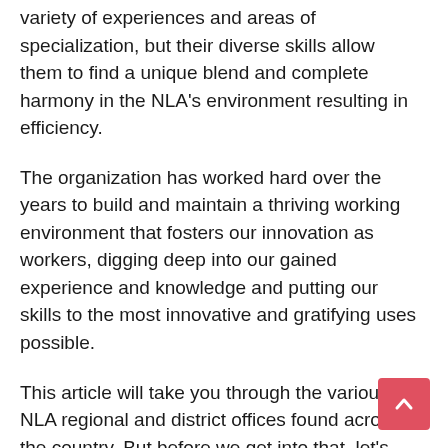variety of experiences and areas of specialization, but their diverse skills allow them to find a unique blend and complete harmony in the NLA's environment resulting in efficiency.
The organization has worked hard over the years to build and maintain a thriving working environment that fosters our innovation as workers, digging deep into our gained experience and knowledge and putting our skills to the most innovative and gratifying uses possible.
This article will take you through the various NLA regional and district offices found across the country. But before we get into that, let's me take you through a brief history of the NLA.